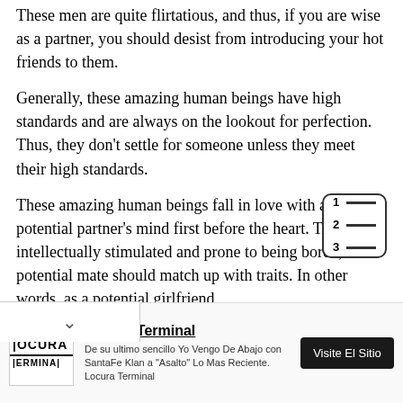These men are quite flirtatious, and thus, if you are wise as a partner, you should desist from introducing your hot friends to them.
Generally, these amazing human beings have high standards and are always on the lookout for perfection. Thus, they don’t settle for someone unless they meet their high standards.
These amazing human beings fall in love with a potential partner’s mind first before the heart. They are intellectually stimulated and prone to being bored, so a potential mate should match up with traits. In other words, as a potential girlfriend
[Figure (other): Table of contents icon: numbered list icon with 3 rows, each with a number (1, 2, 3) and a horizontal line, inside a rounded rectangle border.]
Locura Terminal
De su ultimo sencillo Yo Vengo De Abajo con SantaFe Klan a "Asalto" Lo Mas Reciente. Locura Terminal
Visite El Sitio